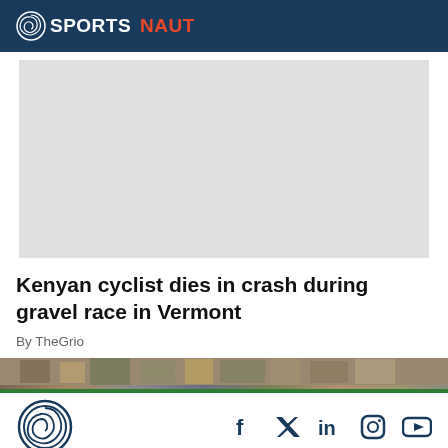SPORTSNAUT
[Figure (photo): Gray placeholder image for article photo]
Kenyan cyclist dies in crash during gravel race in Vermont
By TheGrio
[Figure (photo): Bottom strip image showing sports crowd/players scene]
Sportsnaut logo and social media icons: Facebook, Twitter, LinkedIn, Instagram, YouTube